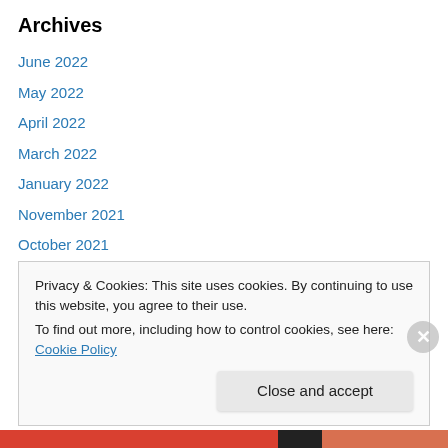Archives
June 2022
May 2022
April 2022
March 2022
January 2022
November 2021
October 2021
September 2021
August 2021
July 2021
May 2021
Privacy & Cookies: This site uses cookies. By continuing to use this website, you agree to their use.
To find out more, including how to control cookies, see here: Cookie Policy